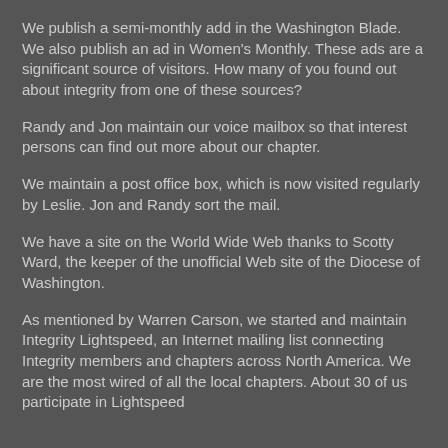We publish a semi-monthly add in the Washington Blade. We also publish an ad in Women's Monthly. These ads are a significant source of visitors. How many of you found out about integrity from one of these sources?
Randy and Jon maintain our voice mailbox so that interest persons can find out more about our chapter.
We maintain a post office box, which is now visited regularly by Leslie. Jon and Randy sort the mail.
We have a site on the World Wide Web thanks to Scotty Ward, the keeper of the unofficial Web site of the Diocese of Washington.
As mentioned by Warren Carson, we started and maintain Integrity Lightspeed, an Internet mailing list connecting Integrity members and chapters across North America. We are the most wired of all the local chapters. About 30 of us participate in Lightspeed